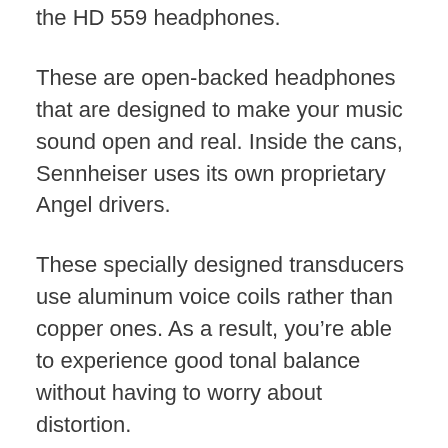the HD 559 headphones.
These are open-backed headphones that are designed to make your music sound open and real. Inside the cans, Sennheiser uses its own proprietary Angel drivers.
These specially designed transducers use aluminum voice coils rather than copper ones. As a result, you’re able to experience good tonal balance without having to worry about distortion.
Pros
Good tonal balance
Realistic sound
Comfortable to wear